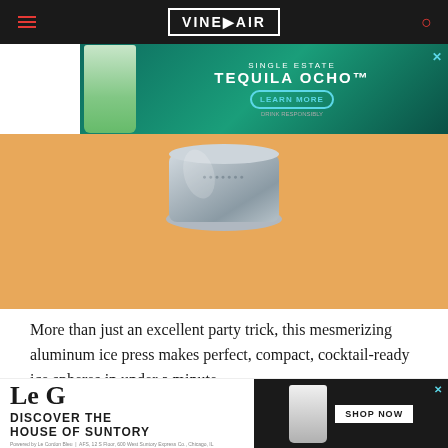VinePair
[Figure (photo): Advertisement banner for Tequila Ocho Single Estate with teal background, bottle image, and LEARN MORE button]
[Figure (photo): Hero image area with orange/tan background showing bottom portion of a metallic aluminum ice press]
More than just an excellent party trick, this mesmerizing aluminum ice press makes perfect, compact, cocktail-ready ice spheres in under a minute.
[Figure (photo): Advertisement banner for Discover the House of Suntory with Le Cordon Bleu logo, bottle image, and SHOP NOW button on dark background]